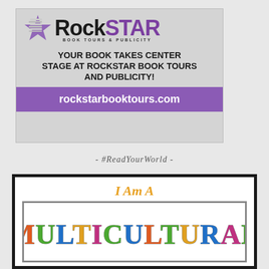[Figure (logo): RockStar Book Tours & Publicity logo banner with tagline 'YOUR BOOK TAKES CENTER STAGE AT ROCKSTAR BOOK TOURS AND PUBLICITY!' and URL 'rockstarbooktours.com']
- #ReadYourWorld -
[Figure (infographic): I Am A MULTICULTURAL reader badge/card with orange decorative text 'I Am A' above a bordered inner frame showing colorful 'MULTICULTURAL' text]